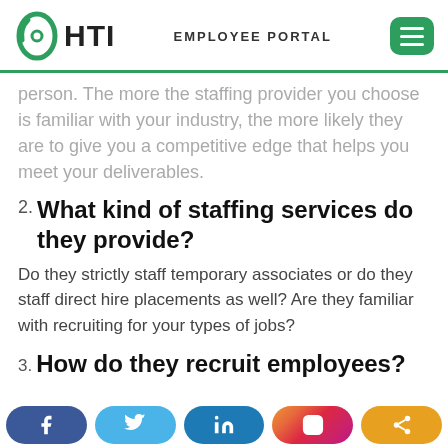HTI — EMPLOYEE PORTAL
person. The more the staffing provider you choose is familiar with your industry, the more likely they are to give you a competitive edge that helps you meet your deliverables.
2. What kind of staffing services do they provide?
Do they strictly staff temporary associates or do they staff direct hire placements as well? Are they familiar with recruiting for your types of jobs?
3. How do they recruit employees?